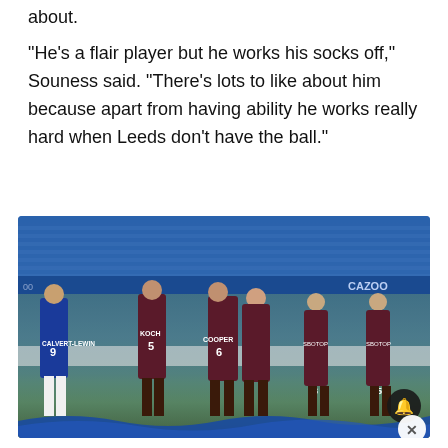about.
“He’s a flair player but he works his socks off,” Souness said. “There’s lots to like about him because apart from having ability he works really hard when Leeds don’t have the ball.”
[Figure (photo): Football match photo showing Leeds United players including numbers 9 (Calvert-Lewin in blue), 5 (Koch), 6 (Cooper) and others wearing dark maroon SBOTOP-sponsored kits celebrating on pitch, with stadium seating visible in background.]